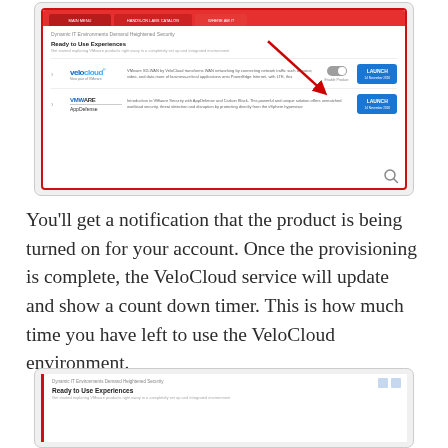[Figure (screenshot): Screenshot of a VMware hands-on lab portal showing 'Dynamic IT Environments Demand Heightened Security' page with VeloCloud and VMware AppDefense product cards. A red arrow points to a toggle/enable button. The screenshot is enclosed in a red-bordered card.]
You'll get a notification that the product is being turned on for your account. Once the provisioning is complete, the VeloCloud service will update and show a count down timer. This is how much time you have left to use the VeloCloud environment.
[Figure (screenshot): Partial screenshot of a VMware hands-on lab portal showing 'Dynamic IT Environments Demand Heightened Security' with 'Ready to Use Experiences' section, cut off at the bottom of the page.]